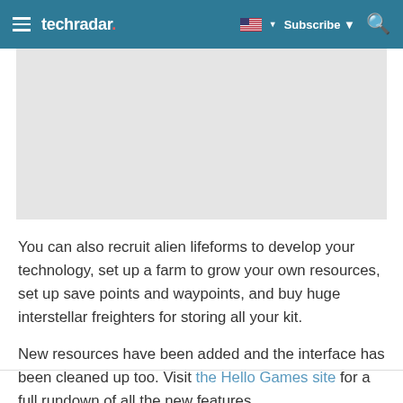techradar  Subscribe
[Figure (photo): Gray placeholder image rectangle]
You can also recruit alien lifeforms to develop your technology, set up a farm to grow your own resources, set up save points and waypoints, and buy huge interstellar freighters for storing all your kit.
New resources have been added and the interface has been cleaned up too. Visit the Hello Games site for a full rundown of all the new features.